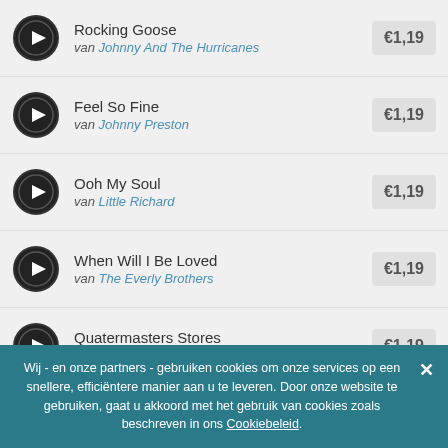Rocking Goose / van Johnny And The Hurricanes / €1,19
Feel So Fine / van Johnny Preston / €1,19
Ooh My Soul / van Little Richard / €1,19
When Will I Be Loved / van The Everly Brothers / €1,19
Quatermasters Stores / van The Shadows / €1,19
Jet Black Machine / van Vince Taylor / €1,19
Wij - en onze partners - gebruiken cookies om onze services op een snellere, efficiëntere manier aan u te leveren. Door onze website te gebruiken, gaat u akkoord met het gebruik van cookies zoals beschreven in ons Cookiebeleid.